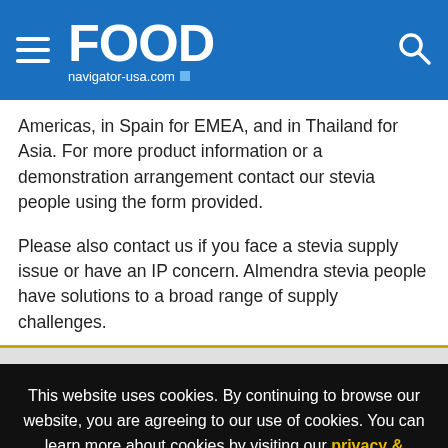FOOD navigator-usa.com
Americas, in Spain for EMEA, and in Thailand for Asia. For more product information or a demonstration arrangement contact our stevia people using the form provided.
Please also contact us if you face a stevia supply issue or have an IP concern. Almendra stevia people have solutions to a broad range of supply challenges.
This website uses cookies. By continuing to browse our website, you are agreeing to our use of cookies. You can learn more about cookies by visiting our privacy & cookies policy page.
I Agree